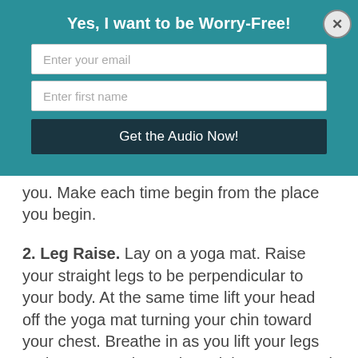Yes, I want to be Worry-Free!
Enter your email
Enter first name
Get the Audio Now!
you. Make each time begin from the place you begin.
2. Leg Raise. Lay on a yoga mat. Raise your straight legs to be perpendicular to your body. At the same time lift your head off the yoga mat turning your chin toward your chest. Breathe in as you lift your legs and out as you lower them tighten your anal sphincter as you